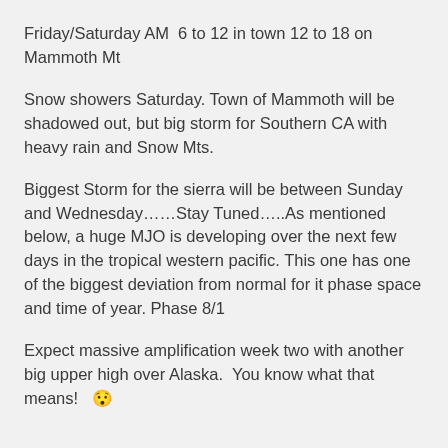Friday/Saturday AM  6 to 12 in town 12 to 18 on Mammoth Mt
Snow showers Saturday. Town of Mammoth will be shadowed out, but big storm for Southern CA with heavy rain and Snow Mts.
Biggest Storm for the sierra will be between Sunday and Wednesday……Stay Tuned…..As mentioned below, a huge MJO is developing over the next few days in the tropical western pacific. This one has one of the biggest deviation from normal for it phase space and time of year. Phase 8/1
Expect massive amplification week two with another big upper high over Alaska.  You know what that means!  😯